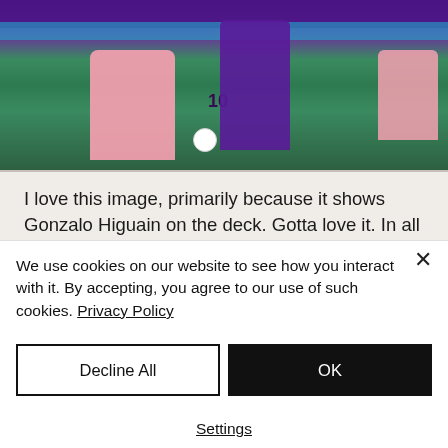[Figure (photo): Soccer match photo showing Gonzalo Higuain (pink jersey, number 10) on the ground and an Orlando City player (purple jersey, number 17) with the ball during an MLS match]
I love this image, primarily because it shows Gonzalo Higuain on the deck. Gotta love it. In all seriousness, Facu was the best player on the park, closely challenged by Mauricio when
We use cookies on our website to see how you interact with it. By accepting, you agree to our use of such cookies. Privacy Policy
Decline All
OK
Settings